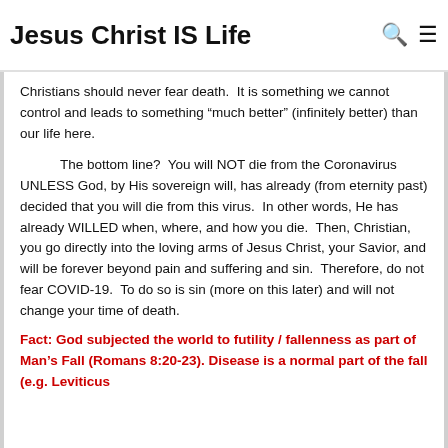Jesus Christ IS Life
Christians should never fear death. It is something we cannot control and leads to something “much better” (infinitely better) than our life here.
The bottom line? You will NOT die from the Coronavirus UNLESS God, by His sovereign will, has already (from eternity past) decided that you will die from this virus. In other words, He has already WILLED when, where, and how you die. Then, Christian, you go directly into the loving arms of Jesus Christ, your Savior, and will be forever beyond pain and suffering and sin. Therefore, do not fear COVID-19. To do so is sin (more on this later) and will not change your time of death.
Fact: God subjected the world to futility / fallenness as part of Man’s Fall (Romans 8:20-23). Disease is a normal part of the fall (e.g. Leviticus